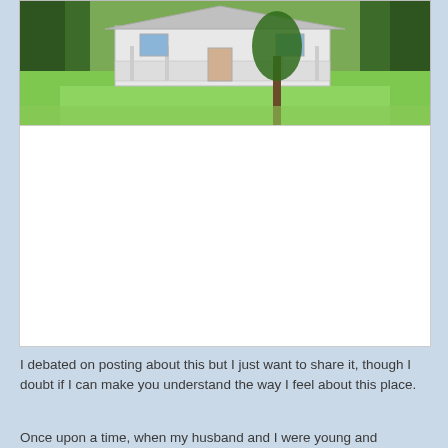[Figure (photo): Photograph of an old white farmhouse with a front porch, surrounded by a large green lawn and trees in the background.]
[Figure (photo): A white/blank rectangular image placeholder below the house photo.]
I debated on posting about this but I just want to share it, though I doubt if I can make you understand the way I feel about this place.
Once upon a time, when my husband and I were young and